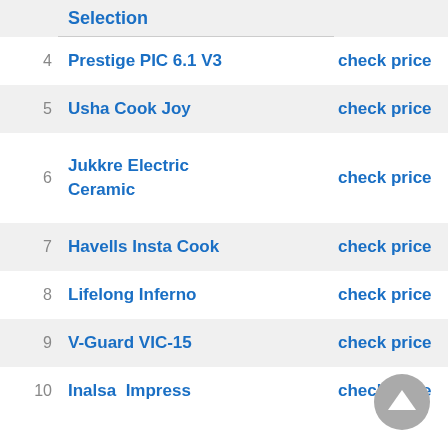| # | Selection | Price | Rating |
| --- | --- | --- | --- |
| 4 | Prestige PIC 6.1 V3 | check price | 4 Sta... |
| 5 | Usha Cook Joy | check price | 4 Sta... |
| 6 | Jukkre Electric Ceramic | check price | 5 sta... |
| 7 | Havells Insta Cook | check price | 4 Sta... |
| 8 | Lifelong Inferno | check price | 3.5 Sta... |
| 9 | V-Guard VIC-15 | check price | 4 Sta... |
| 10 | Inalsa  Impress | check price | 5 Sta... |